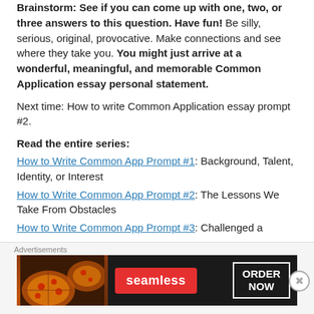Brainstorm: See if you can come up with one, two, or three answers to this question. Have fun! Be silly, serious, original, provocative. Make connections and see where they take you. You might just arrive at a wonderful, meaningful, and memorable Common Application essay personal statement.
Next time: How to write Common Application essay prompt #2.
Read the entire series:
How to Write Common App Prompt #1: Background, Talent, Identity, or Interest
How to Write Common App Prompt #2: The Lessons We Take From Obstacles
How to Write Common App Prompt #3: Challenged a
[Figure (other): Seamless food delivery advertisement banner with pizza image, Seamless logo in red, and ORDER NOW button]